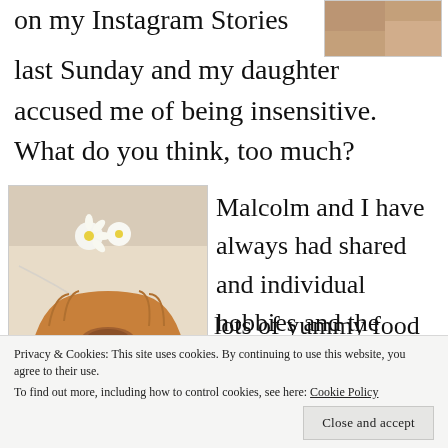on my Instagram Stories last Sunday and my daughter accused me of being insensitive. What do you think, too much?
[Figure (photo): Partial photo visible in top right corner, showing skin/outdoor tones]
[Figure (photo): Photo of a bundt cake on a marble countertop with white daisy flowers on top]
Malcolm and I have always had shared and individual hobbies and the hobby he misses the
lots of yummy food
Privacy & Cookies: This site uses cookies. By continuing to use this website, you agree to their use.
To find out more, including how to control cookies, see here: Cookie Policy
Close and accept